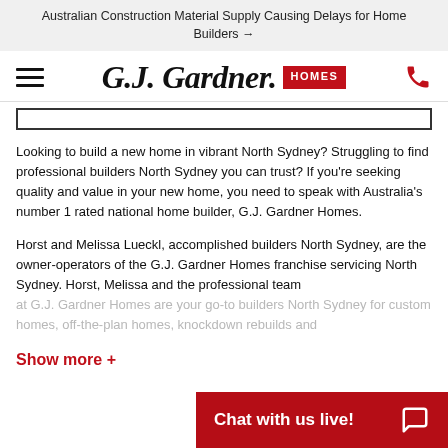Australian Construction Material Supply Causing Delays for Home Builders →
[Figure (logo): G.J. Gardner Homes logo with hamburger menu icon on left and phone icon on right]
Looking to build a new home in vibrant North Sydney? Struggling to find professional builders North Sydney you can trust? If you're seeking quality and value in your new home, you need to speak with Australia's number 1 rated national home builder, G.J. Gardner Homes.
Horst and Melissa Lueckl, accomplished builders North Sydney, are the owner-operators of the G.J. Gardner Homes franchise servicing North Sydney. Horst, Melissa and the professional team at G.J. Gardner Homes are your go-to builders North Sydney for custom homes, off-the-plan homes, knockdown rebuilds and...
Show more +